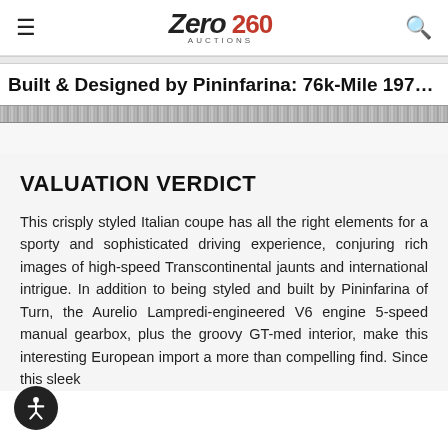Zero 260 Auctions — navigation header with hamburger menu and search icon
Built & Designed by Pininfarina: 76k-Mile 1975 Fia…
[Figure (photo): Cropped strip of a car photograph, showing a partial view of the vehicle exterior]
VALUATION VERDICT
This crisply styled Italian coupe has all the right elements for a sporty and sophisticated driving experience, conjuring rich images of high-speed Transcontinental jaunts and international intrigue. In addition to being styled and built by Pininfarina of Turn, the Aurelio Lampredi-engineered V6 engine 5-speed manual gearbox, plus the groovy GT-med interior, make this interesting European import a more than compelling find. Since this sleek